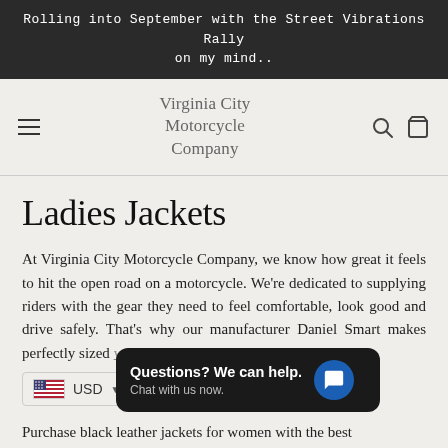Rolling into September with the Street Vibrations Rally on my mind..
Virginia City Motorcycle Company
Ladies Jackets
At Virginia City Motorcycle Company, we know how great it feels to hit the open road on a motorcycle. We're dedicated to supplying riders with the gear they need to feel comfortable, look good and drive safely. That's why our manufacturer Daniel Smart makes perfectly sized women's leather motorcycle jackets with...
Purchase black leather jackets for women with the best